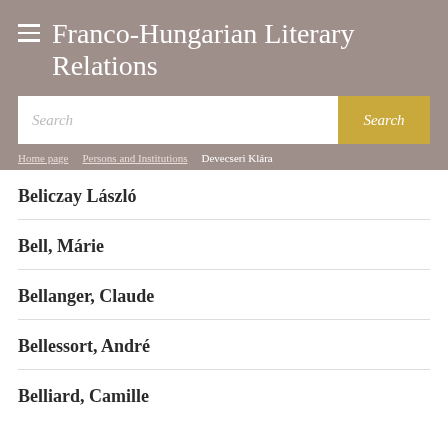Franco-Hungarian Literary Relations
Search
Home page · Persons and Institutions · Devecseri Klára
Beliczay László
Bell, Márie
Bellanger, Claude
Bellessort, André
Belliard, Camille